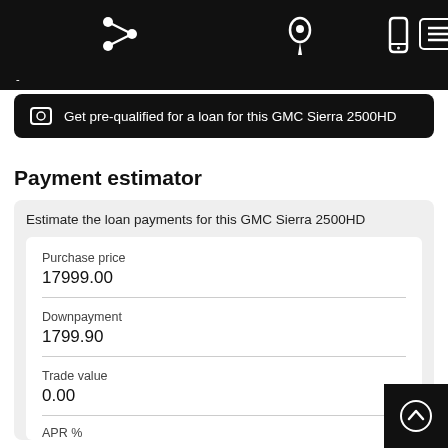[Figure (screenshot): Mobile website navigation bar with share, location, phone, and menu icons on black background]
Get pre-qualified for a loan for this GMC Sierra 2500HD
Payment estimator
Estimate the loan payments for this GMC Sierra 2500HD
Purchase price
17999.00
Downpayment
1799.90
Trade value
0.00
APR %